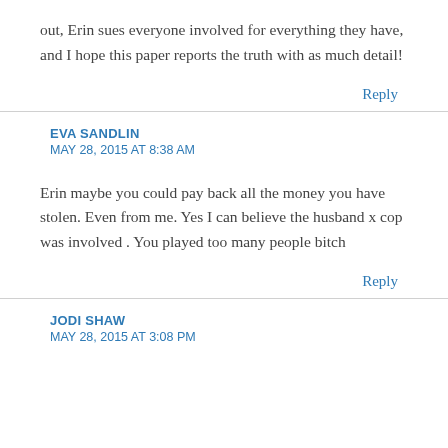out, Erin sues everyone involved for everything they have, and I hope this paper reports the truth with as much detail!
Reply
EVA SANDLIN
MAY 28, 2015 AT 8:38 AM
Erin maybe you could pay back all the money you have stolen. Even from me. Yes I can believe the husband x cop was involved . You played too many people bitch
Reply
JODI SHAW
MAY 28, 2015 AT 3:08 PM